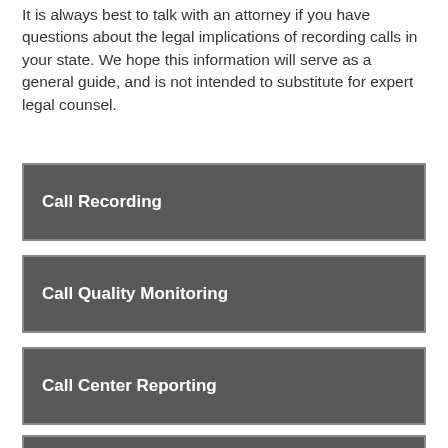It is always best to talk with an attorney if you have questions about the legal implications of recording calls in your state. We hope this information will serve as a general guide, and is not intended to substitute for expert legal counsel.
Call Recording
Call Quality Monitoring
Call Center Reporting